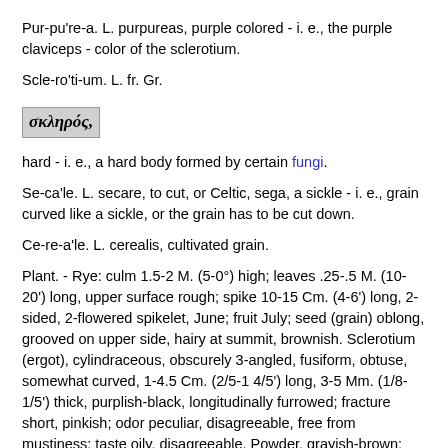Pur-pu're-a. L. purpureas, purple colored - i. e., the purple claviceps - color of the sclerotium.
Scle-ro'ti-um. L. fr. Gr.
[Figure (other): Greek text in bold italic on gray background: σκληρός,]
hard - i. e., a hard body formed by certain fungi.
Se-ca'le. L. secare, to cut, or Celtic, sega, a sickle - i. e., grain curved like a sickle, or the grain has to be cut down.
Ce-re-a'le. L. cerealis, cultivated grain.
Plant. - Rye: culm 1.5-2 M. (5-0°) high; leaves .25-.5 M. (10-20') long, upper surface rough; spike 10-15 Cm. (4-6') long, 2-sided, 2-flowered spikelet, June; fruit July; seed (grain) oblong, grooved on upper side, hairy at summit, brownish. Sclerotium (ergot), cylindraceous, obscurely 3-angled, fusiform, obtuse, somewhat curved, 1-4.5 Cm. (2/5-1 4/5') long, 3-5 Mm. (1/8-1/5') thick, purplish-black, longitudinally furrowed; fracture short, pinkish; odor peculiar, disagreeable, free from mustiness; taste oily, disagreeable. Powder, grayish-brown: microscopically - chiefly fragments of false parenchyma of compacted hyphae, free fat, colors of the coloration, contain looted along